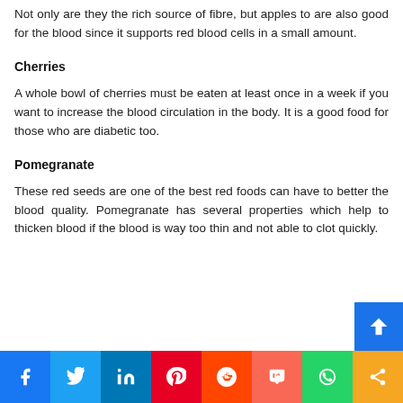Not only are they the rich source of fibre, but apples to are also good for the blood since it supports red blood cells in a small amount.
Cherries
A whole bowl of cherries must be eaten at least once in a week if you want to increase the blood circulation in the body. It is a good food for those who are diabetic too.
Pomegranate
These red seeds are one of the best red foods can have to better the blood quality. Pomegranate has several properties which help to thicken blood if the blood is way too thin and not able to clot quickly.
[Figure (other): Social media sharing bar with icons for Facebook, Twitter, LinkedIn, Pinterest, Reddit, Mix, WhatsApp, and Share]